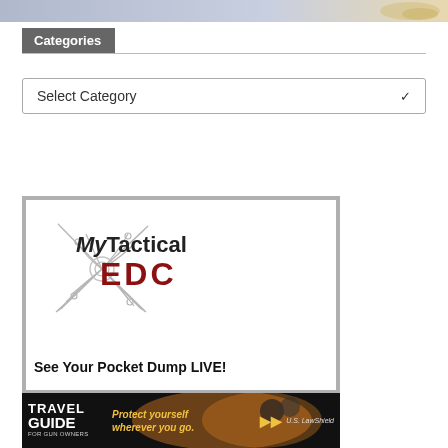[Figure (photo): Top banner image partially visible, appears to be a product or gun-related advertisement]
Categories
Select Category
[Figure (logo): MyTactical EDC advertisement with Swiss army knife illustration and text 'See Your Pocket Dump LIVE!']
[Figure (photo): Travel Guide for Gun Owners advertisement - 'Protect yourself wherever you go.' by U.S. LawShield]